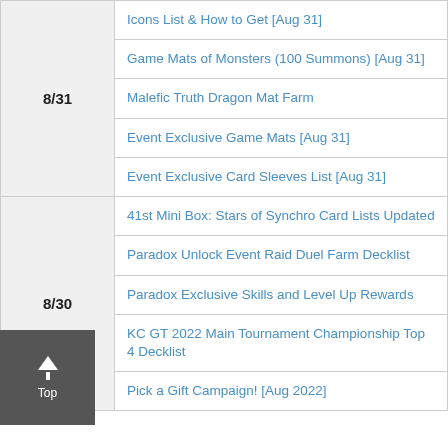| Date | Article |
| --- | --- |
| 8/31 | Icons List & How to Get [Aug 31] |
| 8/31 | Game Mats of Monsters (100 Summons) [Aug 31] |
| 8/31 | Malefic Truth Dragon Mat Farm |
| 8/31 | Event Exclusive Game Mats [Aug 31] |
| 8/31 | Event Exclusive Card Sleeves List [Aug 31] |
| 8/30 | 41st Mini Box: Stars of Synchro Card Lists Updated |
| 8/30 | Paradox Unlock Event Raid Duel Farm Decklist |
| 8/30 | Paradox Exclusive Skills and Level Up Rewards |
| 8/30 | KC GT 2022 Main Tournament Championship Top 4 Decklist |
| 8/30 | Pick a Gift Campaign! [Aug 2022] |